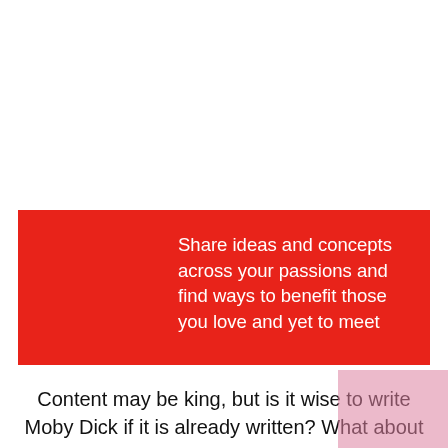[Figure (other): Red banner/callout box with white text on right side reading: Share ideas and concepts across your passions and find ways to benefit those you love and yet to meet]
Content may be king, but is it wise to write Moby Dick if it is already written? What about creating a training course where someone has already written one? This is